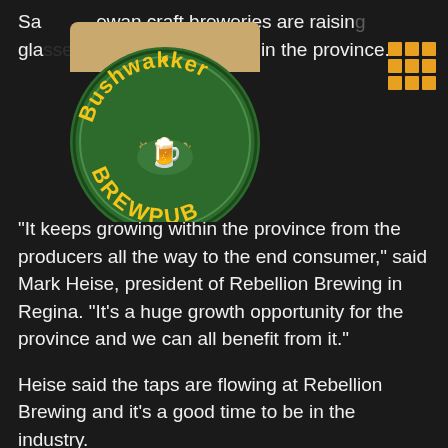Saskatchewan craft breweries are raising glasses to growth in the province.
[Figure (logo): Bushwakker Brewpub circular logo with green background, yellow text reading 'Bushwakker' at top and 'BREWPUB' at bottom, with decorative brown arch at top]
[Figure (other): 3x3 grid of orange/yellow squares icon]
“It keeps growing within the province from the producers all the way to the end consumer,” said Mark Heise, president of Rebellion Brewing in Regina. “It’s a huge growth opportunity for the province and we can all benefit from it.”
Heise said the taps are flowing at Rebellion Brewing and it’s a good time to be in the industry.
“The benefit to Saskatchewan of the local craft brewing industry as of last year was about a $30 million net economic benefit, about 250 jobs and about three million dollars in taxes paid,” said Heise.
“None of that existed before we came along, it’s very exciting and we’re really proud of that. Saskatchewan seems to have a really strong appetite for quality local made products and there